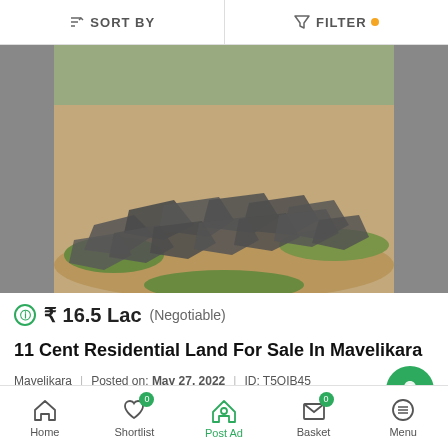SORT BY | FILTER
[Figure (photo): Outdoor land photo showing rocks and dry terrain with some grass, viewed from above]
₹ 16.5 Lac (Negotiable)
11 Cent Residential Land For Sale In Mavelikara
Mavelikara | Posted on: May 27, 2022 | ID: T5OIB45
Residential Land
Home | Shortlist 0 | Post Ad | Basket 0 | Menu